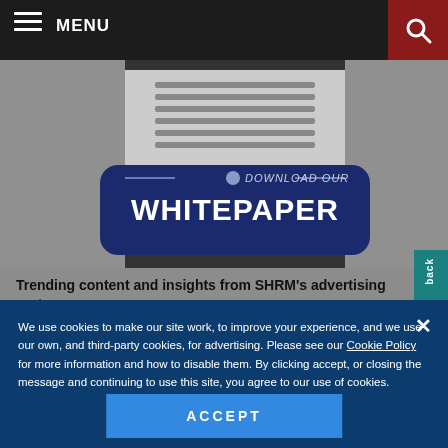MENU
[Figure (illustration): Download Our Whitepaper promotional banner with dark blue rounded rectangle button on gray background with document icon]
Trending content and insights from SHRM's advertising partners
We use cookies to make our site work, to improve your experience, and we use our own, and third-party cookies, for advertising. Please see our Cookie Policy for more information and how to disable them. By clicking accept, or closing the message and continuing to use this site, you agree to our use of cookies.
ACCEPT